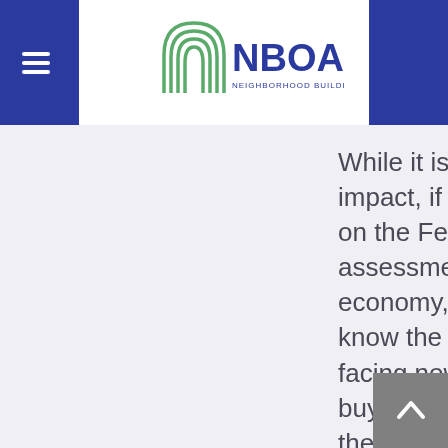NBOA - NEIGHBORHOOD BUILDING OWNERS ALLIANCE
While it is unclear what impact, if any, this had on the Fed’s assessment of the US economy, at least we know the troubles facing new home buyers have made it all the way to one of the most powerful economic institutions in the world.